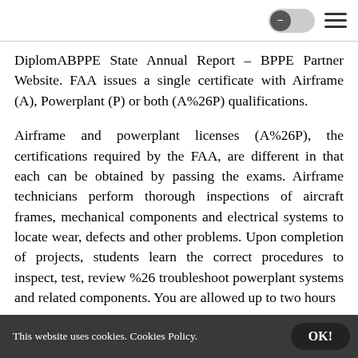toggle and hamburger menu controls
DiplomABPPE State Annual Report - BPPE Partner Website. FAA issues a single certificate with Airframe (A), Powerplant (P) or both (A%26P) qualifications.
Airframe and powerplant licenses (A%26P), the certifications required by the FAA, are different in that each can be obtained by passing the exams. Airframe technicians perform thorough inspections of aircraft frames, mechanical components and electrical systems to locate wear, defects and other problems. Upon completion of projects, students learn the correct procedures to inspect, test, review %26 troubleshoot powerplant systems and related components. You are allowed up to two hours
This website uses cookies. Cookies Policy. OK!